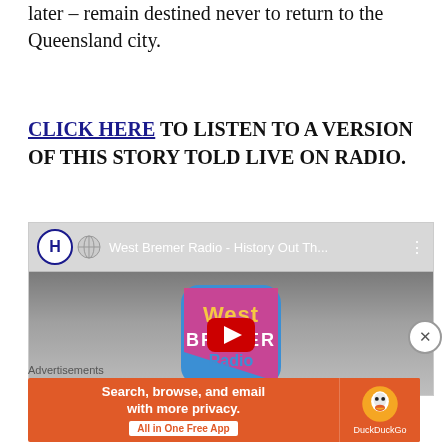later – remain destined never to return to the Queensland city.
CLICK HERE TO LISTEN TO A VERSION OF THIS STORY TOLD LIVE ON RADIO.
[Figure (screenshot): YouTube embedded video player showing West Bremer Radio - History Out Th... with West Bremer Radio logo and red play button]
Advertisements
[Figure (other): DuckDuckGo advertisement banner: Search, browse, and email with more privacy. All in One Free App]